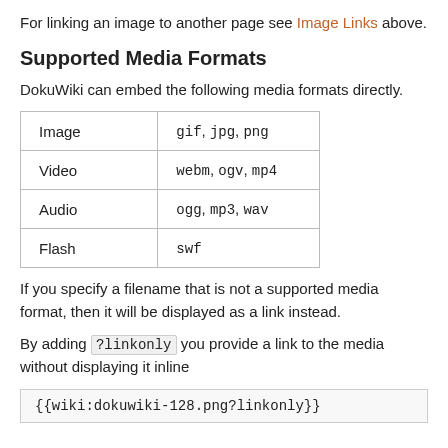For linking an image to another page see Image Links above.
Supported Media Formats
DokuWiki can embed the following media formats directly.
|  |  |
| --- | --- |
| Image | gif, jpg, png |
| Video | webm, ogv, mp4 |
| Audio | ogg, mp3, wav |
| Flash | swf |
If you specify a filename that is not a supported media format, then it will be displayed as a link instead.
By adding ?linkonly you provide a link to the media without displaying it inline
{{wiki:dokuwiki-128.png?linkonly}}